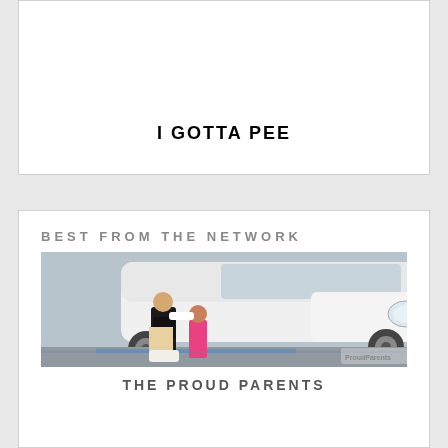I GOTTA PEE
BEST FROM THE NETWORK
[Figure (photo): A woman and a young girl sitting on the ground in front of a white car at what appears to be a car show. The woman is wearing a black outfit and the girl is wearing a pink dress.]
THE PROUD PARENTS